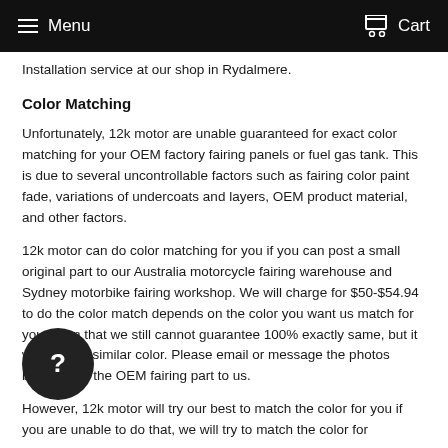Menu  Cart
Installation service at our shop in Rydalmere.
Color Matching
Unfortunately, 12k motor are unable guaranteed for exact color matching for your OEM factory fairing panels or fuel gas tank. This is due to several uncontrollable factors such as fairing color paint fade, variations of undercoats and layers, OEM product material, and other factors.
12k motor can do color matching for you if you can post a small original part to our Australia motorcycle fairing warehouse and Sydney motorbike fairing workshop. We will charge for $50-$54.94 to do the color match depends on the color you want us match for you, even that we still cannot guarantee 100% exactly same, but it will be very similar color. Please email or message the photos before post the OEM fairing part to us.
However, 12k motor will try our best to match the color for you if you are unable to do that, we will try to match the color for